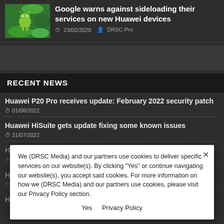[Figure (photo): Thumbnail image of Android robot on green foliage background]
Google warns against sideloading their services on new Huawei devices
23/02/2020  DRSC Pro
RECENT NEWS
Huawei P20 Pro receives update: February 2022 security patch
01/08/2022
Huawei HiSuite gets update fixing some known issues
31/07/2022
Huawei makes it easy to update system software
29/07/2022
Huawei HiSuite gets update fixing known issues
28/04/2022
Huawei P20 Pro receives update: November 2021
We (DRSC Media) and our partners use cookies to deliver specific services on our website(s). By clicking "Yes" or continue navigating our website(s), you accept said cookies. For more information on how we (DRSC Media) and our partners use cookies, please visit our Privacy Policy section.

Yes  Privacy Policy